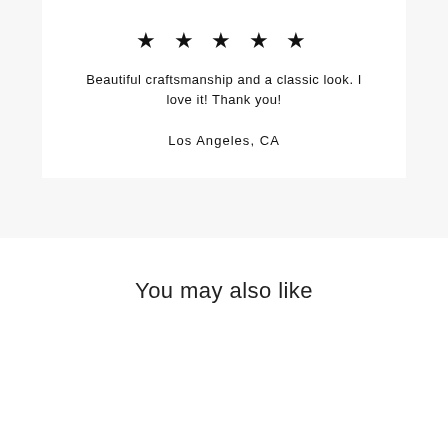★ ★ ★ ★ ★
Beautiful craftsmanship and a classic look. I love it! Thank you!
Los Angeles, CA
You may also like